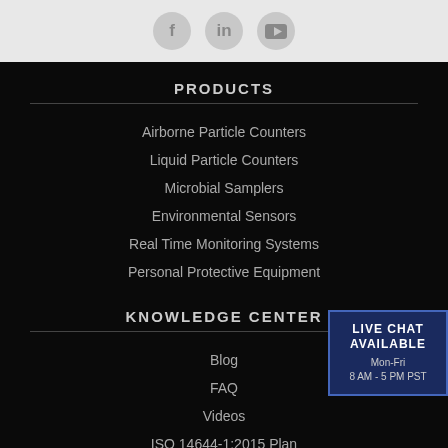[Figure (other): Social media icons for Facebook, LinkedIn, and YouTube in circular gray buttons on light gray background]
PRODUCTS
Airborne Particle Counters
Liquid Particle Counters
Microbial Samplers
Environmental Sensors
Real Time Monitoring Systems
Personal Protective Equipment
KNOWLEDGE CENTER
Blog
FAQ
Videos
ISO 14644-1:2015 Plan
Webinar Registration
LIVE CHAT AVAILABLE
Mon-Fri
8 AM - 5 PM PST